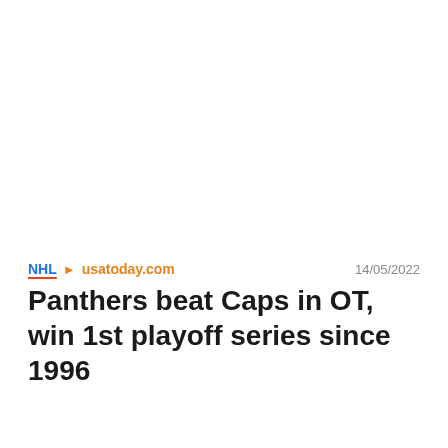NHL > usatoday.com    14/05/2022
Panthers beat Caps in OT, win 1st playoff series since 1996